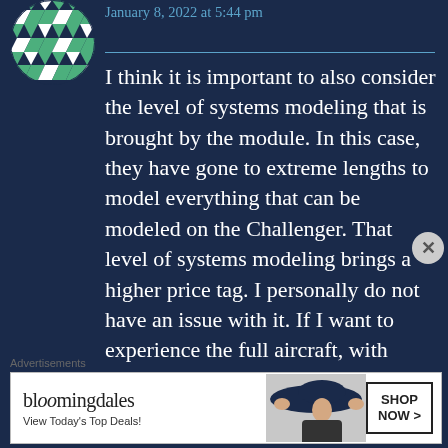[Figure (illustration): Decorative avatar icon with green and white geometric diamond pattern on dark background, circular shape]
January 8, 2022 at 5:44 pm
I think it is important to also consider the level of systems modeling that is brought by the module. In this case, they have gone to extreme lengths to model everything that can be modeled on the Challenger. That level of systems modeling brings a higher price tag. I personally do not have an issue with it. If I want to experience the full aircraft, with everything working, in an aircraft as complex as a Challenger (which
Advertisements
[Figure (photo): Bloomingdales advertisement banner. Text reads: bloomingdales, View Today's Top Deals! with a photo of a woman wearing a large dark hat and a SHOP NOW > button.]